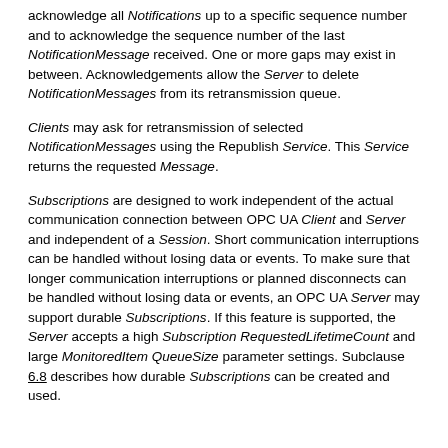acknowledge all Notifications up to a specific sequence number and to acknowledge the sequence number of the last NotificationMessage received. One or more gaps may exist in between. Acknowledgements allow the Server to delete NotificationMessages from its retransmission queue.
Clients may ask for retransmission of selected NotificationMessages using the Republish Service. This Service returns the requested Message.
Subscriptions are designed to work independent of the actual communication connection between OPC UA Client and Server and independent of a Session. Short communication interruptions can be handled without losing data or events. To make sure that longer communication interruptions or planned disconnects can be handled without losing data or events, an OPC UA Server may support durable Subscriptions. If this feature is supported, the Server accepts a high Subscription RequestedLifetimeCount and large MonitoredItem QueueSize parameter settings. Subclause 6.8 describes how durable Subscriptions can be created and used.